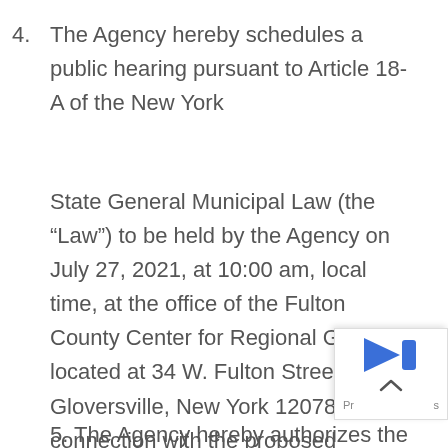4. The Agency hereby schedules a public hearing pursuant to Article 18-A of the New York
State General Municipal Law (the “Law”) to be held by the Agency on July 27, 2021, at 10:00 am, local time, at the office of the Fulton County Center for Regional Growth located at 34 W. Fulton Street, Gloversville, New York 12078, in connection with the proposed Project.
5. The Agency hereby authorizes the